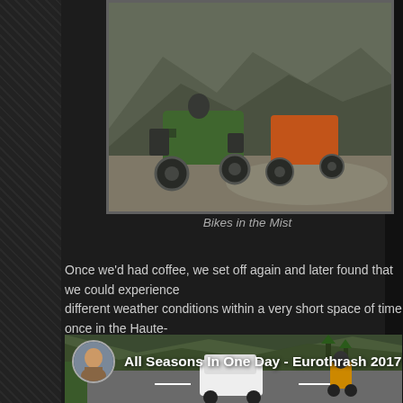[Figure (photo): Two motorcycles parked on a gravel road with misty mountains in the background. A green Kawasaki adventure bike with luggage panniers is prominent on the left.]
Bikes in the Mist
Once we'd had coffee, we set off again and later found that we could experience different weather conditions within a very short space of time once in the Haute-Garonne of France:
[Figure (screenshot): Video thumbnail showing a road scene with a white SUV and a motorcyclist riding, with mountains in background. Overlay shows a circular avatar of a man and text 'All Seasons In One Day - Eurothrash 2017'.]